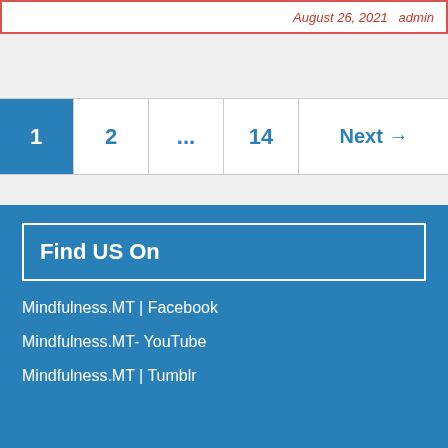August 26, 2021  admin
1  2  ...  14  Next →
Find US On
Mindfulness.MT | Facebook
Mindfulness.MT- YouTube
Mindfulness.MT | Tumblr